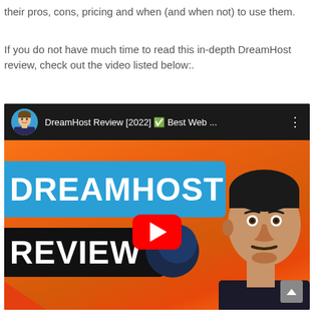their pros, cons, pricing and when (and when not) to use them.
If you do not have much time to read this in-depth DreamHost review, check out the video listed below:.
[Figure (screenshot): YouTube video thumbnail/embed showing a DreamHost Review [2022] video. The thumbnail features an orange background with 'DREAMHOST' in white text on a blue banner and 'REVIEW' on a dark banner, a YouTube play button, a decorative orb graphic, and a person's face on the right side. The video top bar shows a circular avatar, the text 'DreamHost Review [2022] ✅ Best Web ...' and a three-dot menu.]